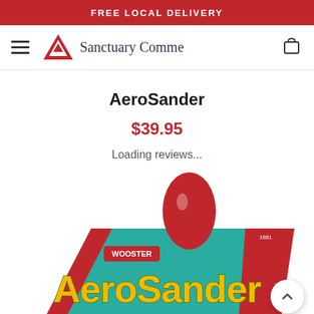FREE LOCAL DELIVERY
[Figure (logo): Sanctuary Commerce logo with mountain triangle icon and store name]
AeroSander
$39.95
Loading reviews...
[Figure (photo): Product packaging photo showing Wooster AeroSander product with teal and red packaging design]